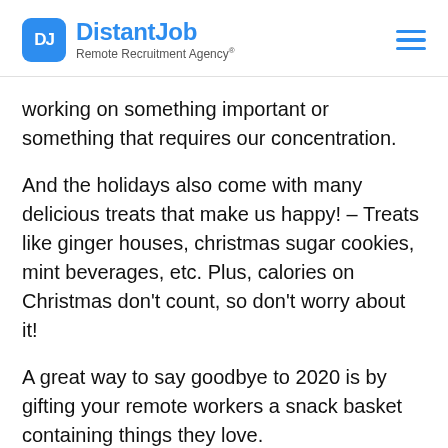DistantJob Remote Recruitment Agency®
working on something important or something that requires our concentration.
And the holidays also come with many delicious treats that make us happy! – Treats like ginger houses, christmas sugar cookies, mint beverages, etc. Plus, calories on Christmas don't count, so don't worry about it!
A great way to say goodbye to 2020 is by gifting your remote workers a snack basket containing things they love.